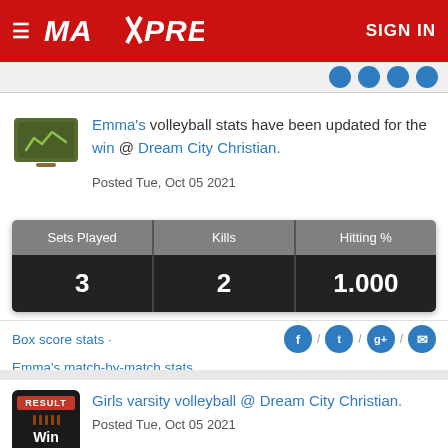MAXPREPS | SIGN IN
Emma's volleyball stats have been updated for the win @ Dream City Christian. Posted Tue, Oct 05 2021
| Sets Played | Kills | Hitting % |
| --- | --- | --- |
| 3 | 2 | 1.000 |
Box score stats · Emma's match-by-match stats
Girls varsity volleyball @ Dream City Christian. Posted Tue, Oct 05 2021